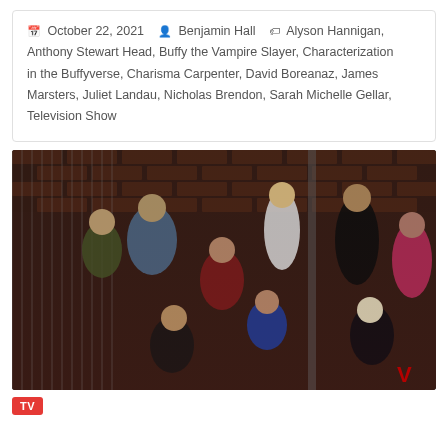October 22, 2021  Benjamin Hall  Alyson Hannigan, Anthony Stewart Head, Buffy the Vampire Slayer, Characterization in the Buffyverse, Charisma Carpenter, David Boreanaz, James Marsters, Juliet Landau, Nicholas Brendon, Sarah Michelle Gellar, Television Show
[Figure (photo): Cast photo of Buffy the Vampire Slayer TV show. Multiple cast members posed in front of a brick wall with chain link fence. Group of approximately 9 people in various poses, some seated, some standing.]
TV